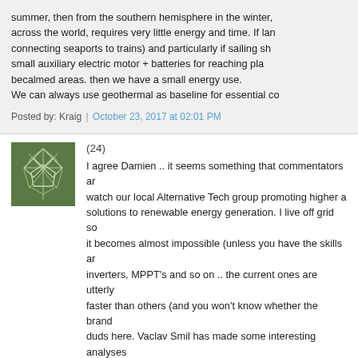summer, then from the southern hemisphere in the winter, across the world, requires very little energy and time. If land (connecting seaports to trains) and particularly if sailing ships have a small auxiliary electric motor + batteries for reaching places or becalmed areas. then we have a small energy use. We can always use geothermal as baseline for essential co...
Posted by: Kraig | October 23, 2017 at 02:01 PM
(24)
[Figure (illustration): Green avatar icon with a geometric leaf/petal pattern on dark green background]
I agree Damien .. it seems something that commentators and watch our local Alternative Tech group promoting higher solutions to renewable energy generation. I live off grid so it becomes almost impossible (unless you have the skills and inverters, MPPT's and so on .. the current ones are utterly faster than others (and you won't know whether the brand duds here. Vaclav Smil has made some interesting analyses BAU with renewable energy - basically you can't - because per square meter of generator that can be produced. Artic from those who declare that renewables will power the wo million!
Posted by: Hugh Spencer | October 26, 2017 at 10:37 PM